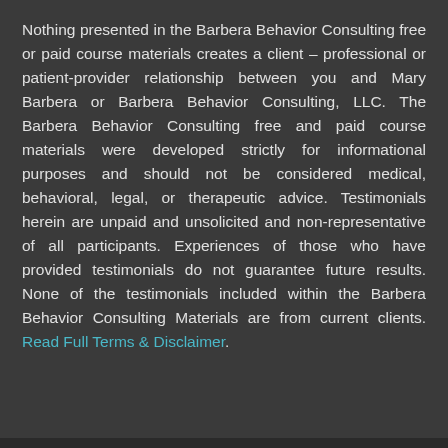Nothing presented in the Barbera Behavior Consulting free or paid course materials creates a client – professional or patient-provider relationship between you and Mary Barbera or Barbera Behavior Consulting, LLC. The Barbera Behavior Consulting free and paid course materials were developed strictly for informational purposes and should not be considered medical, behavioral, legal, or therapeutic advice. Testimonials herein are unpaid and unsolicited and non-representative of all participants. Experiences of those who have provided testimonials do not guarantee future results. None of the testimonials included within the Barbera Behavior Consulting Materials are from current clients. Read Full Terms & Disclaimer.